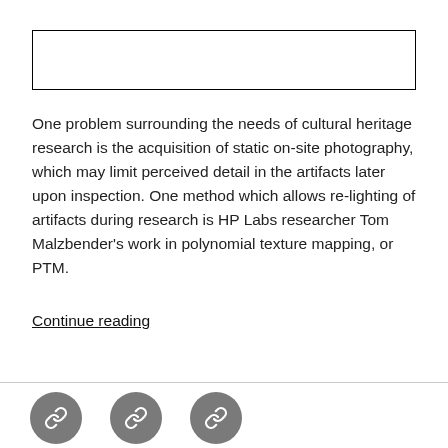[Figure (other): Empty rectangular box outline at the top of the page]
One problem surrounding the needs of cultural heritage research is the acquisition of static on-site photography, which may limit perceived detail in the artifacts later upon inspection. One method which allows re-lighting of artifacts during research is HP Labs researcher Tom Malzbender's work in polynomial texture mapping, or PTM.
Continue reading
[Figure (other): Three gray circular icon buttons in the footer area]